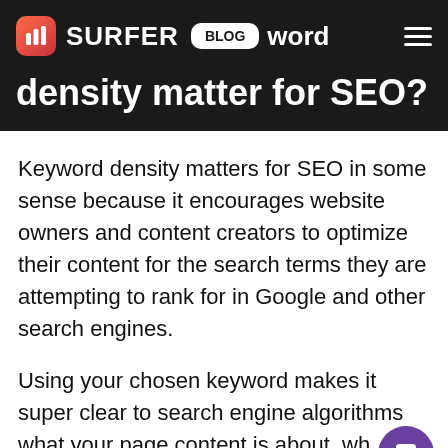SURFER BLOG
keyword density matter for SEO?
Keyword density matters for SEO in some sense because it encourages website owners and content creators to optimize their content for the search terms they are attempting to rank for in Google and other search engines.
Using your chosen keyword makes it super clear to search engine algorithms what your page content is about, which encourages the search engine to show